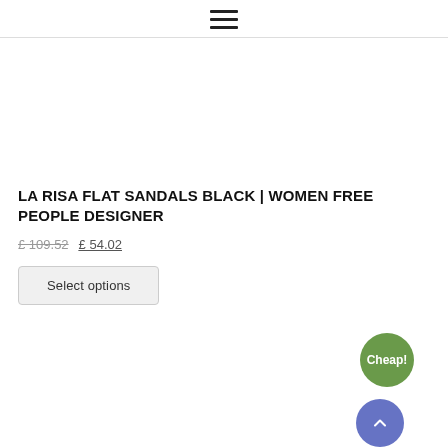≡ (hamburger menu icon)
LA RISA FLAT SANDALS BLACK | WOMEN FREE PEOPLE DESIGNER
£ 109.52 £ 54.02
Select options
Cheap!